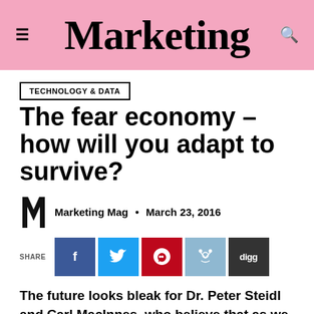Marketing
TECHNOLOGY & DATA
The fear economy – how will you adapt to survive?
Marketing Mag • March 23, 2016
[Figure (other): Social share buttons: Facebook, Twitter, Pinterest, Reddit, Digg]
The future looks bleak for Dr. Peter Steidl and Carl MacInnes, who believe that as we face security threats and economic uncertainty, we will enter into